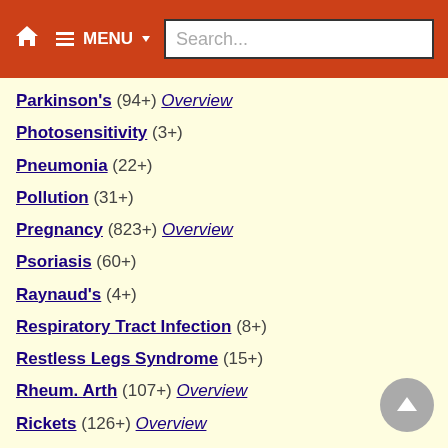MENU Search...
Parkinson's (94+) Overview
Photosensitivity (3+)
Pneumonia (22+)
Pollution (31+)
Pregnancy (823+) Overview
Psoriasis (60+)
Raynaud's (4+)
Respiratory Tract Infection (8+)
Restless Legs Syndrome (15+)
Rheum. Arth (107+) Overview
Rickets (126+) Overview
Sarcopenia (28+)
Schizophrenia Overview